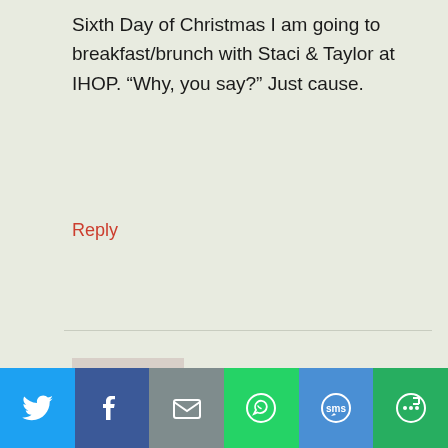Sixth Day of Christmas I am going to breakfast/brunch with Staci & Taylor at IHOP. “Why, you say?” Just cause.
Reply
[Figure (photo): Avatar photo of Dorothy Johnson, a woman with short blonde hair and glasses]
Dorothy Johnson says
December 31, 2015 at 6:51 am
Just love that picture of your happy family. I bet it becomes a family favorite, maybe even morph into a family heirloom. Eating out sounds
[Figure (infographic): Social share bar with Twitter, Facebook, Email, WhatsApp, SMS, and More buttons]